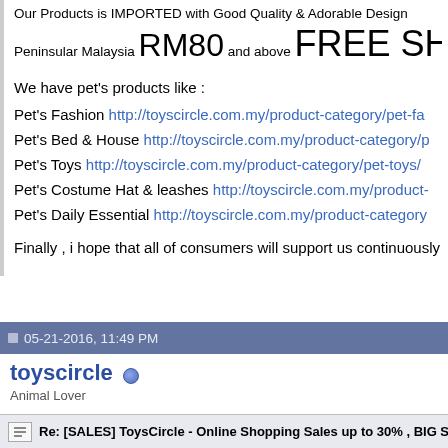Our Products is IMPORTED with Good Quality & Adorable Design
Peninsular Malaysia RM80 and above FREE SHIPPING
We have pet's products like :
Pet's Fashion http://toyscircle.com.my/product-category/pet-fa...
Pet's Bed & House http://toyscircle.com.my/product-category/p...
Pet's Toys http://toyscircle.com.my/product-category/pet-toys/
Pet's Costume Hat & leashes http://toyscircle.com.my/product-...
Pet's Daily Essential http://toyscircle.com.my/product-category/...
Finally , i hope that all of consumers will support us continuously .
05-21-2016, 11:49 PM
toyscircle
Animal Lover
Re: [SALES] ToysCircle - Online Shopping Sales up to 30% , BIG SALE...